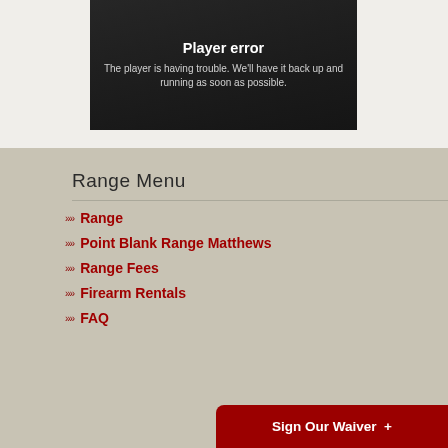[Figure (screenshot): Video player error screen showing dark background with text: 'Player error' and 'The player is having trouble. We'll have it back up and running as soon as possible.']
Range Menu
Range
Point Blank Range Matthews
Range Fees
Firearm Rentals
FAQ
Sign Our Waiver +